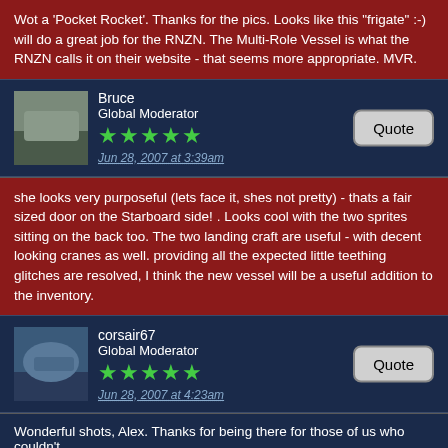Wot a 'Pocket Rocket'. Thanks for the pics. Looks like this "frigate" :-) will do a great job for the RNZN. The Multi-Role Vessel is what the RNZN calls it on their website - that seems more appropriate. MVR.
Bruce
Global Moderator
Jun 28, 2007 at 3:39am
she looks very purposeful (lets face it, shes not pretty) - thats a fair sized door on the Starboard side! . Looks cool with the two sprites sitting on the back too. The two landing craft are useful - with decent looking cranes as well. providing all the expected little teething glitches are resolved, I think the new vessel will be a useful addition to the inventory.
corsair67
Global Moderator
Jun 28, 2007 at 4:23am
Wonderful shots, Alex. Thanks for being there for those of us who couldn't. 🙂